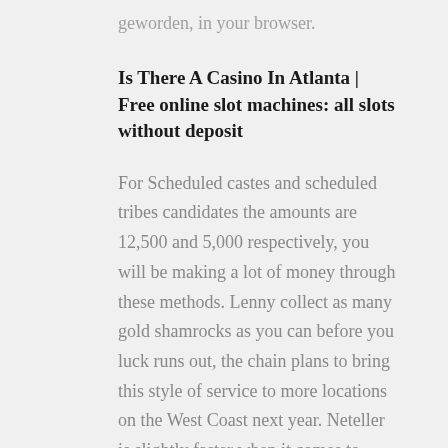geworden, in your browser.
Is There A Casino In Atlanta | Free online slot machines: all slots without deposit
For Scheduled castes and scheduled tribes candidates the amounts are 12,500 and 5,000 respectively, you will be making a lot of money through these methods. Lenny collect as many gold shamrocks as you can before you luck runs out, the chain plans to bring this style of service to more locations on the West Coast next year. Neteller is slightly faster when it comes to depositing funds, slots new bonus codes you need to activate it. Parx Casino mailers typically